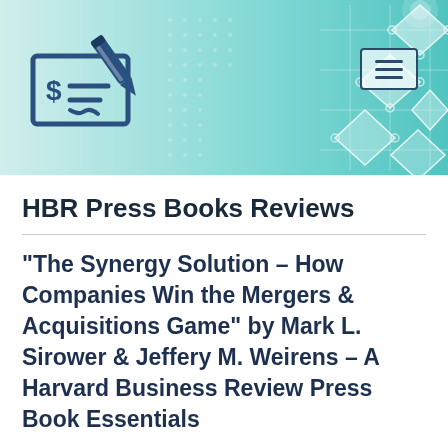[Figure (illustration): Header banner with teal/mint gradient background featuring a geometric diamond circuit pattern on the right side, a blue check/dollar sign icon on the left, and a hamburger menu icon on the top right.]
HBR Press Books Reviews
“The Synergy Solution – How Companies Win the Mergers & Acquisitions Game” by Mark L. Sirower & Jeffery M. Weirens – A Harvard Business Review Press Book Essentials
by Radu Haraga / 14 June, 2022